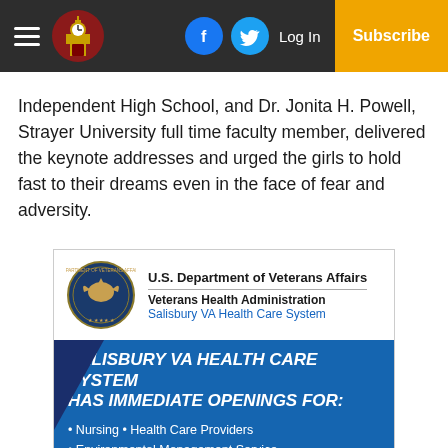Independent High School [navigation bar with hamburger menu, logo, Facebook icon, Twitter icon, Log In, Subscribe]
Independent High School, and Dr. Jonita H. Powell, Strayer University full time faculty member, delivered the keynote addresses and urged the girls to hold fast to their dreams even in the face of fear and adversity.
[Figure (infographic): U.S. Department of Veterans Affairs / Veterans Health Administration / Salisbury VA Health Care System advertisement. Text: SALISBURY VA HEALTH CARE SYSTEM HAS IMMEDIATE OPENINGS FOR: • Nursing • Health Care Providers • Environmental Management Service • Police Service • Medical Support Assistant • Nutrition & Food Service]